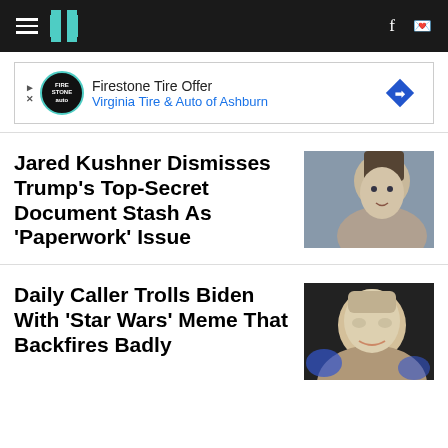HuffPost navigation header with hamburger menu, HP logo, Facebook and Twitter icons
[Figure (other): Advertisement banner: Firestone Tire Offer - Virginia Tire & Auto of Ashburn]
Jared Kushner Dismisses Trump's Top-Secret Document Stash As 'Paperwork' Issue
[Figure (photo): Close-up photo of Jared Kushner looking sideways]
Daily Caller Trolls Biden With 'Star Wars' Meme That Backfires Badly
[Figure (photo): Photo of Joe Biden smiling, blue background]